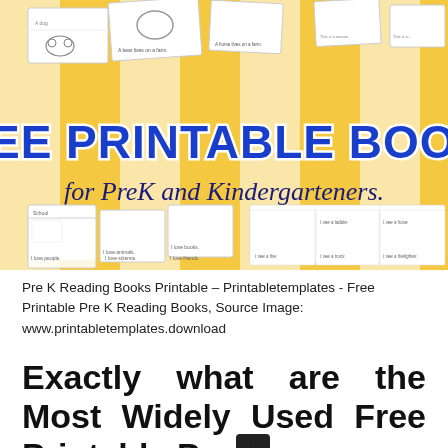[Figure (illustration): Promotional banner image showing free printable mini books for PreK and Kindergarteners. Yellow and white checkered background with scattered black-and-white illustrated mini book pages showing farm animals, firefighter tools, and sight words. Large bold text reads 'FREE PRINTABLE BOOKS' in blue with white outline, below it 'for PreK and Kindergarteners.' in dark blue cursive/script style.]
Pre K Reading Books Printable – Printabletemplates - Free Printable Pre K Reading Books, Source Image: www.printabletemplates.download
Exactly what are the Most Widely Used Free Printable Pre K Reading Books Things